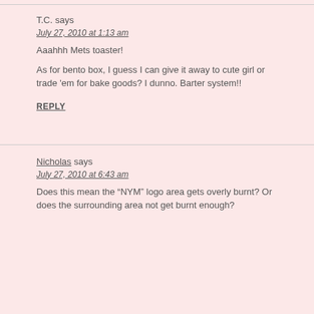T.C. says
July 27, 2010 at 1:13 am
Aaahhh Mets toaster!
As for bento box, I guess I can give it away to cute girl or trade 'em for bake goods? I dunno. Barter system!!
REPLY
Nicholas says
July 27, 2010 at 6:43 am
Does this mean the “NYM” logo area gets overly burnt? Or does the surrounding area not get burnt enough?